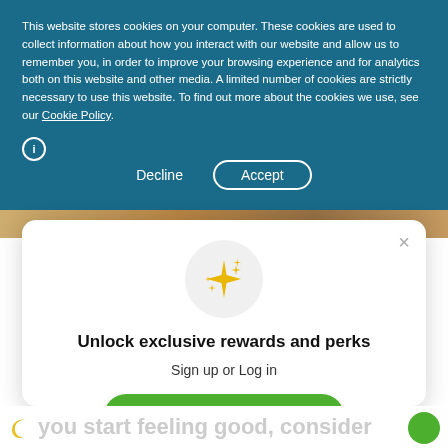This website stores cookies on your computer. These cookies are used to collect information about how you interact with our website and allow us to remember you, in order to improve your browsing experience and for analytics both on this website and other media. A limited number of cookies are strictly necessary to use this website. To find out more about the cookies we use, see our Cookie Policy.
Decline
Accept
[Figure (illustration): Sparkle/stars icon inside a light grey circle]
Unlock exclusive rewards and perks
Sign up or Log in
Sign up
Already have an account? Sign in
you start feeling good, consider